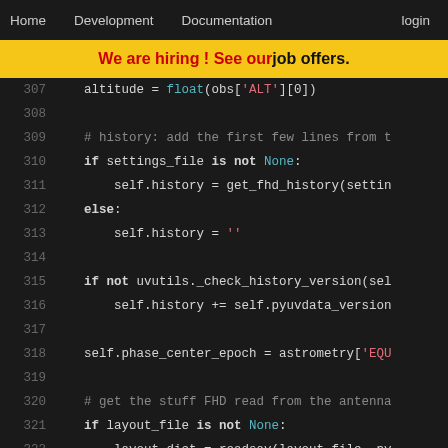Home  Development  Documentation  login
We are hiring! See our job offers.
[Figure (screenshot): Python source code lines 307–327 with syntax highlighting on dark background]
307    altitude = float(obs['ALT'][0])
308
309    # history: add the first few lines from t
310    if settings_file is not None:
311        self.history = get_fhd_history(settin
312    else:
313        self.history = ''
314
315    if not uvutils._check_history_version(sel
316        self.history += self.pyuvdata_version
317
318    self.phase_center_epoch = astrometry['EQU
319
320    # get the stuff FHD read from the antenna
321    if layout_file is not None:
322        layout_dict = readsav(layout_file, py
323        layout = layout_dict['layout']
324
325        layout_fields = [name.lower() for nam
326        # Try to get the telescope location f
327        # compare it to the position from th